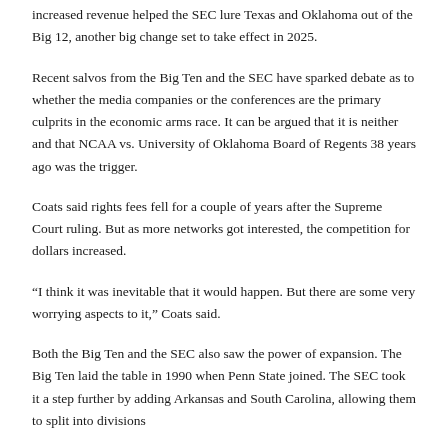increased revenue helped the SEC lure Texas and Oklahoma out of the Big 12, another big change set to take effect in 2025.
Recent salvos from the Big Ten and the SEC have sparked debate as to whether the media companies or the conferences are the primary culprits in the economic arms race. It can be argued that it is neither and that NCAA vs. University of Oklahoma Board of Regents 38 years ago was the trigger.
Coats said rights fees fell for a couple of years after the Supreme Court ruling. But as more networks got interested, the competition for dollars increased.
“I think it was inevitable that it would happen. But there are some very worrying aspects to it,” Coats said.
Both the Big Ten and the SEC also saw the power of expansion. The Big Ten laid the table in 1990 when Penn State joined. The SEC took it a step further by adding Arkansas and South Carolina, allowing them to split into divisions